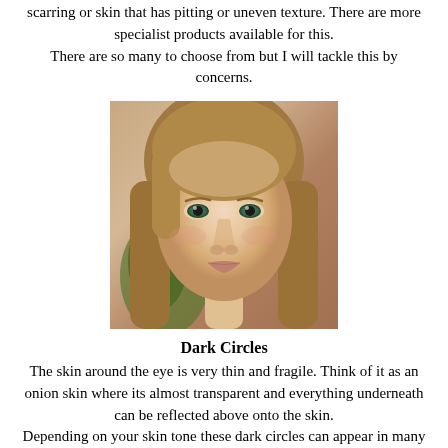scarring or skin that has pitting or uneven texture. There are more specialist products available for this. There are so many to choose from but I will tackle this by concerns.
[Figure (photo): Close-up portrait photo of a young woman with long light brown hair and green/blue eyes, looking slightly to the side with a neutral expression.]
Dark Circles
The skin around the eye is very thin and fragile. Think of it as an onion skin where its almost transparent and everything underneath can be reflected above onto the skin. Depending on your skin tone these dark circles can appear in many different tones so you need to choose the correct colour to